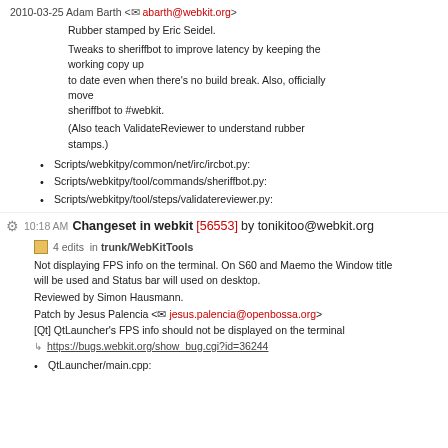2010-03-25 Adam Barth <abarth@webkit.org>
Rubber stamped by Eric Seidel.

Tweaks to sheriffbot to improve latency by keeping the working copy up
to date even when there's no build break. Also, officially move
sheriffbot to #webkit.

(Also teach ValidateReviewer to understand rubber stamps.)
Scripts/webkitpy/common/net/irc/ircbot.py:
Scripts/webkitpy/tool/commands/sheriffbot.py:
Scripts/webkitpy/tool/steps/validatereviewer.py:
10:18 AM Changeset in webkit [56553] by tonikitoo@webkit.org
4 edits in trunk/WebKitTools
Not displaying FPS info on the terminal. On S60 and Maemo the Window title will be used and Status bar will used on desktop.
Reviewed by Simon Hausmann.
Patch by Jesus Palencia <jesus.palencia@openbossa.org>
[Qt] QtLauncher's FPS info should not be displayed on the terminal
https://bugs.webkit.org/show_bug.cgi?id=36244
QtLauncher/main.cpp: